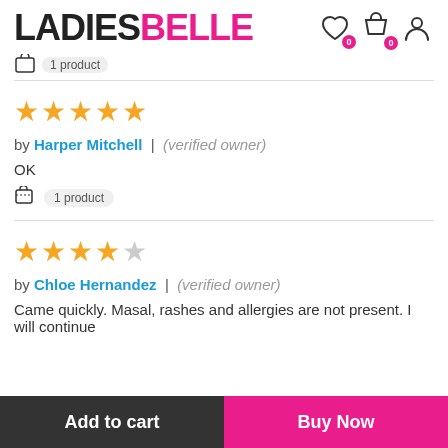LADIESBELLE
1 product (partial, truncated navigation)
[Figure (other): 5 filled gold stars rating]
by Harper Mitchell | (verified owner)
OK
[Figure (other): Shopping bag icon with '1 product' pill tag]
[Figure (other): 4 filled gold stars and 1 empty star rating]
by Chloe Hernandez | (verified owner)
Came quickly. Masal, rashes and allergies are not present. I will continue
Add to cart
Buy Now